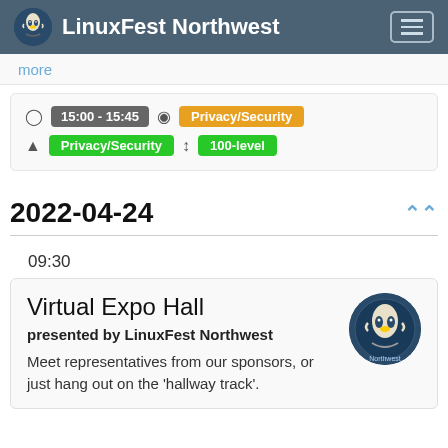LinuxFest Northwest
more
15:00 - 15:45  Privacy/Security  Privacy/Security  100-level
2022-04-24
09:30
Virtual Expo Hall
presented by LinuxFest Northwest
Meet representatives from our sponsors, or just hang out on the 'hallway track'.